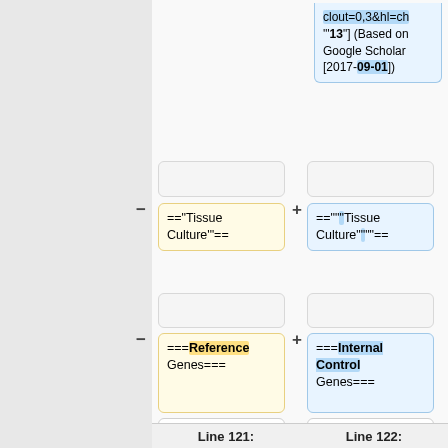[Figure (screenshot): Wikipedia diff view showing two columns of wikitext changes. Left column (yellow, minus) and right column (blue, plus) show differences between revisions. Content includes: top blue box with 'clout=0,3&hl=ch ''13''] (Based on Google Scholar [2017-09-01])', empty white boxes, yellow/blue boxes with '==""Tissue Culture""==' diff, empty boxes, yellow box with '===Reference Genes===' and blue box with '===Internal Control Genes===', white boxes with '{|class="wikitable sortable" style="font-size:10pt; width:100%"', white boxes with '|-', and footer showing 'Line 121:' and 'Line 122:']